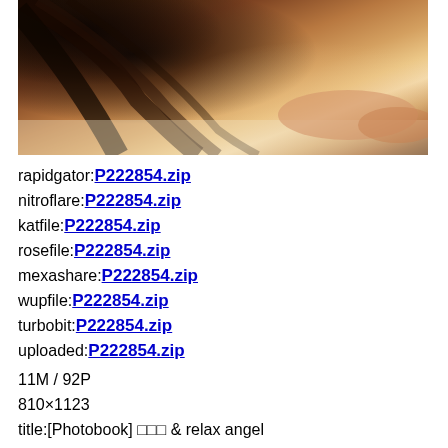[Figure (photo): Photo of a person with long brown hair lying/reclining, cropped torso view on light background]
rapidgator:P222854.zip
nitroflare:P222854.zip
katfile:P222854.zip
rosefile:P222854.zip
mexashare:P222854.zip
wupfile:P222854.zip
turbobit:P222854.zip
uploaded:P222854.zip
11M / 92P
810×1123
title:[Photobook] □□□ & relax angel